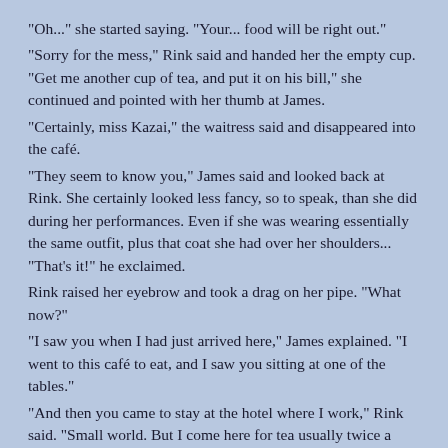"Oh..." she started saying. "Your... food will be right out."
"Sorry for the mess," Rink said and handed her the empty cup. "Get me another cup of tea, and put it on his bill," she continued and pointed with her thumb at James.
"Certainly, miss Kazai," the waitress said and disappeared into the café.
"They seem to know you," James said and looked back at Rink. She certainly looked less fancy, so to speak, than she did during her performances. Even if she was wearing essentially the same outfit, plus that coat she had over her shoulders... "That's it!" he exclaimed.
Rink raised her eyebrow and took a drag on her pipe. "What now?"
"I saw you when I had just arrived here," James explained. "I went to this café to eat, and I saw you sitting at one of the tables."
"And then you came to stay at the hotel where I work," Rink said. "Small world. But I come here for tea usually twice a week."
"Good tea?" James asked.
"You tell me," Rink said with a shrug. "I don't like tea."
"You don't- then why do you order it?" James said.
"I have my reasons," Rink replied, apparently not interested in shedding any further light on the subject.